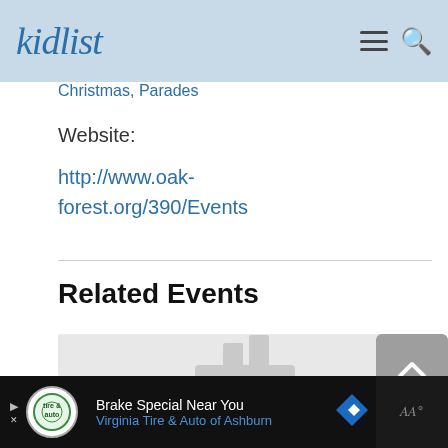kidlist
Christmas, Parades
Website:
http://www.oak-forest.org/390/Events
Related Events
[Figure (photo): Placeholder image for a related event thumbnail]
Brake Special Near You Virginia Tire & Auto of Ashburn